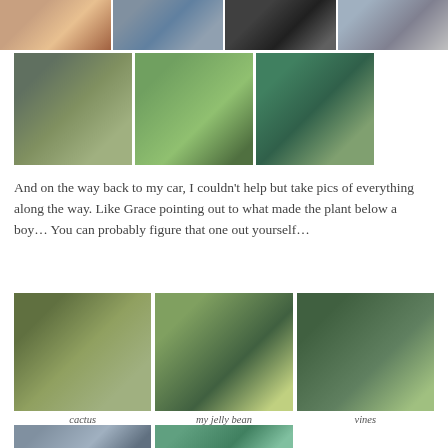[Figure (photo): Top row of 4 photos: person with plant, guitarist, chalkboard sign, street scene]
[Figure (photo): Middle row: succulents in pots, close-up green plant, vine-covered walkway/pergola]
And on the way back to my car, I couldn’t help but take pics of everything along the way. Like Grace pointing out to what made the plant below a boy… You can probably figure that one out yourself…
[Figure (photo): Large photo of cactus]
cactus
[Figure (photo): Large photo labeled my jelly bean - street with trees]
my jelly bean
[Figure (photo): Large photo labeled vines - building covered in vines]
vines
[Figure (photo): Bottom row partial photos: blue sky/water, green plants, palm-like plants]